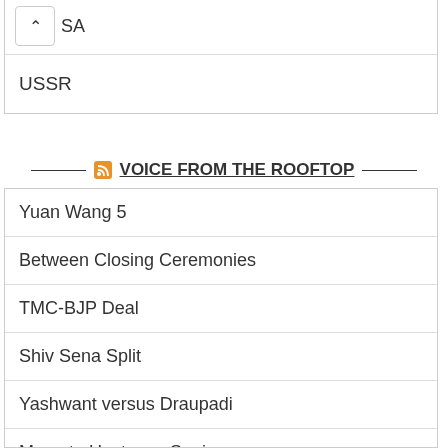SA
USSR
VOICE FROM THE ROOFTOP
Yuan Wang 5
Between Closing Ceremonies
TMC-BJP Deal
Shiv Sena Split
Yashwant versus Draupadi
Mamata Upstages Sonia
Nupur and Naveen